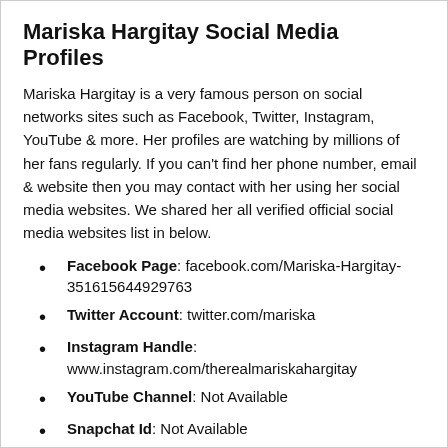Mariska Hargitay Social Media Profiles
Mariska Hargitay is a very famous person on social networks sites such as Facebook, Twitter, Instagram, YouTube  & more. Her profiles are watching by millions of her fans regularly. If you can't find her phone number, email & website then you may contact with her using her social media websites. We shared her all verified official social media websites list in below.
Facebook Page: facebook.com/Mariska-Hargitay-351615644929763
Twitter Account: twitter.com/mariska
Instagram Handle: www.instagram.com/therealmariskahargitay
YouTube Channel: Not Available
Snapchat Id: Not Available
Mariska Hargitay Personal Life